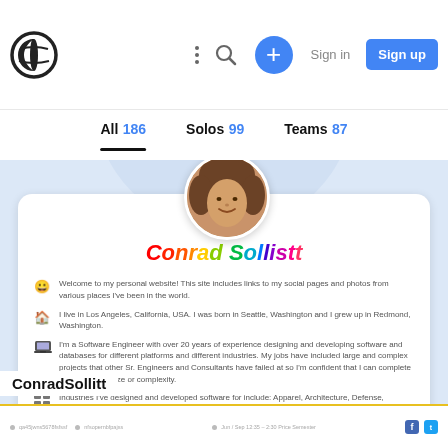Codeshot app header with logo, search, plus button, Sign in, Sign up
All 186   Solos 99   Teams 87
[Figure (screenshot): Profile card for Conrad Sollitt showing rainbow-colored name, profile photo, and bio text about personal website, location (Los Angeles, California, USA; born in Seattle, Washington; grew up in Redmond, Washington), Software Engineer with 20+ years experience, and list of industries served]
ConradSollitt
[Figure (screenshot): Bottom bar with social/metadata links and icons]